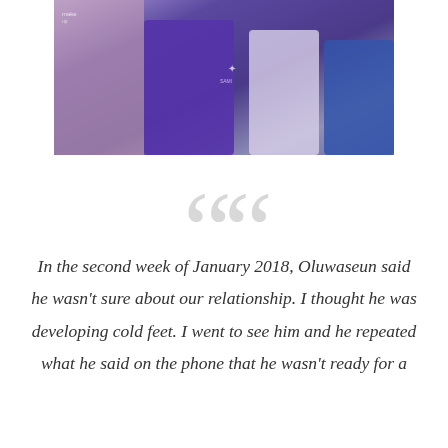[Figure (photo): A photograph showing people wearing purple/blue clothing, cropped to show torsos and arms]
In the second week of January 2018, Oluwaseun said he wasn't sure about our relationship. I thought he was developing cold feet. I went to see him and he repeated what he said on the phone that he wasn't ready for a